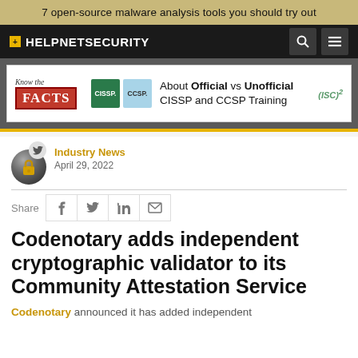7 open-source malware analysis tools you should try out
[Figure (screenshot): HelpNetSecurity website navigation bar with logo, search icon, and menu icon]
[Figure (illustration): Advertisement banner: Know the FACTS about Official vs Unofficial CISSP and CCSP Training by ISC2]
Industry News
April 29, 2022
Share
Codenotary adds independent cryptographic validator to its Community Attestation Service
Codenotary announced it has added independent